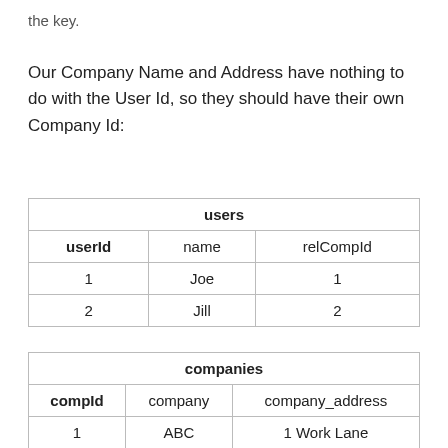the key.
Our Company Name and Address have nothing to do with the User Id, so they should have their own Company Id:
| users |  |  |
| --- | --- | --- |
| userId | name | relCompId |
| 1 | Joe | 1 |
| 2 | Jill | 2 |
| companies |  |  |
| --- | --- | --- |
| compId | company | company_address |
| 1 | ABC | 1 Work Lane |